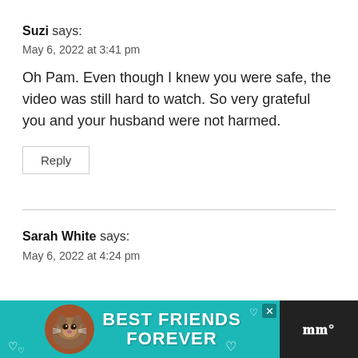Suzi says:
May 6, 2022 at 3:41 pm
Oh Pam. Even though I knew you were safe, the video was still hard to watch. So very grateful you and your husband were not harmed.
Reply
Sarah White says:
May 6, 2022 at 4:24 pm
[Figure (advertisement): Teal advertisement banner with a cat illustration and text reading 'BEST FRIENDS FOREVER' with hearts, and a music service logo on the right]